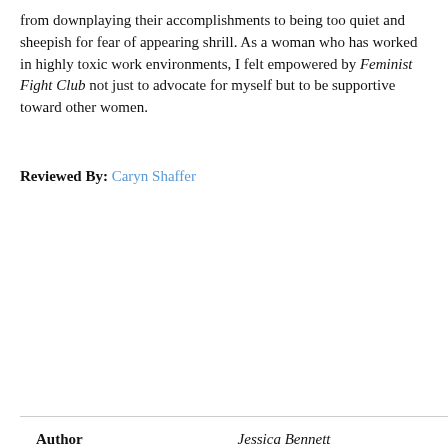from downplaying their accomplishments to being too quiet and sheepish for fear of appearing shrill. As a woman who has worked in highly toxic work environments, I felt empowered by Feminist Fight Club not just to advocate for myself but to be supportive toward other women.
Reviewed By: Caryn Shaffer
|  |  |
| --- | --- |
| Author | Jessica Bennett |
| Star Count | 5/5 |
| Format | Hard |
| Page Count | 336 pages |
| Publisher | Harper Wave |